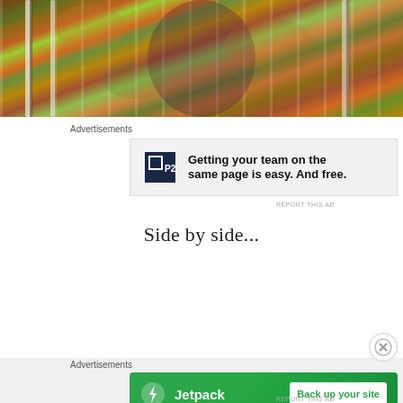[Figure (photo): Autumn forest scene with birch trees and colorful fall foliage — orange, red, green leaves densely packed with white birch trunks visible]
Advertisements
[Figure (infographic): P2 advertisement: logo with dark navy square containing P2 text, bold headline 'Getting your team on the same page is easy. And free.']
REPORT THIS AD
Side by side...
[Figure (photo): Forest scene with large rough-barked tree trunks, gray and brown bark textures, conifer trees visible in background]
Advertisements
[Figure (infographic): Jetpack advertisement: green background with Jetpack logo and lightning bolt icon, white button reading 'Back up your site']
REPORT THIS AD